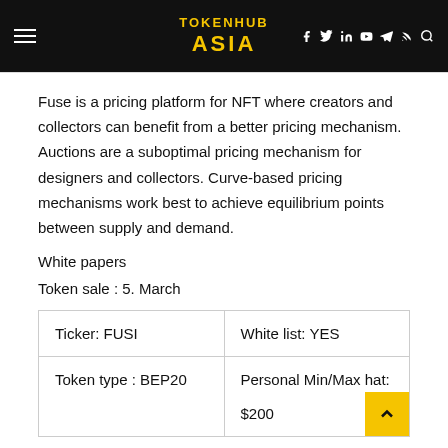TOKENHUB ASIA
Fuse is a pricing platform for NFT where creators and collectors can benefit from a better pricing mechanism. Auctions are a suboptimal pricing mechanism for designers and collectors. Curve-based pricing mechanisms work best to achieve equilibrium points between supply and demand.
White papers
Token sale : 5. March
| Ticker: FUSI | White list: YES |
| Token type : BEP20 | Personal Min/Max hat:
$200 |